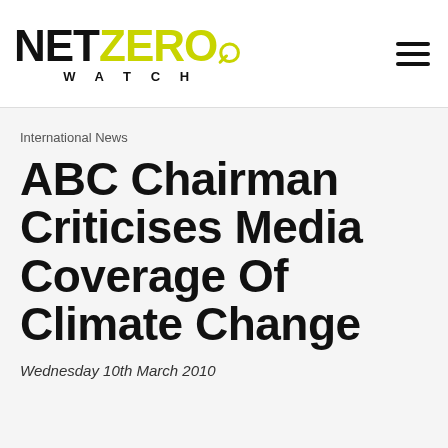NET ZERO WATCH
International News
ABC Chairman Criticises Media Coverage Of Climate Change
Wednesday 10th March 2010